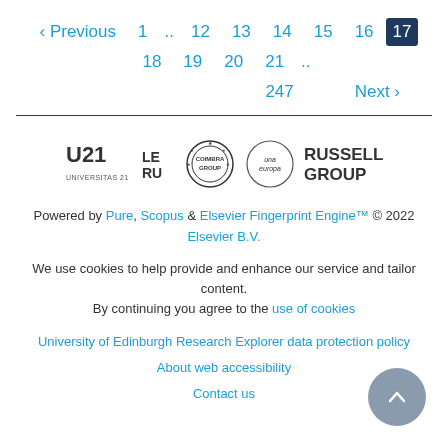‹ Previous  1 .. 12  13  14  15  16  17  18  19  20  21 ..  247  Next ›
[Figure (logo): University affiliation logos: Universitas 21, LERU, Coimbra Group, Una Europa, Russell Group]
Powered by Pure, Scopus & Elsevier Fingerprint Engine™ © 2022 Elsevier B.V.
We use cookies to help provide and enhance our service and tailor content. By continuing you agree to the use of cookies
University of Edinburgh Research Explorer data protection policy
About web accessibility
Contact us